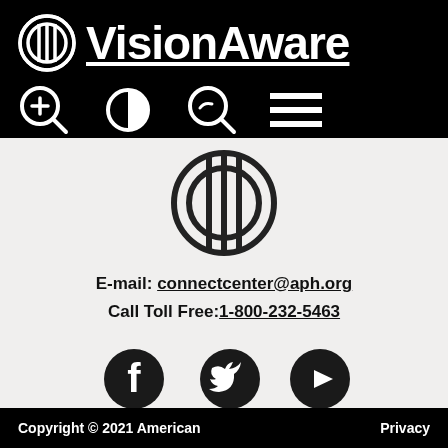VisionAware
[Figure (logo): APH logo circle with letters APH and VisionAware site name with navigation icons: zoom in, contrast, search, menu]
[Figure (logo): APH logo large circle in body area]
E-mail: connectcenter@aph.org
Call Toll Free:1-800-232-5463
[Figure (infographic): Social media icons: Facebook, Twitter, Youtube]
Copyright © 2021 American    Privacy